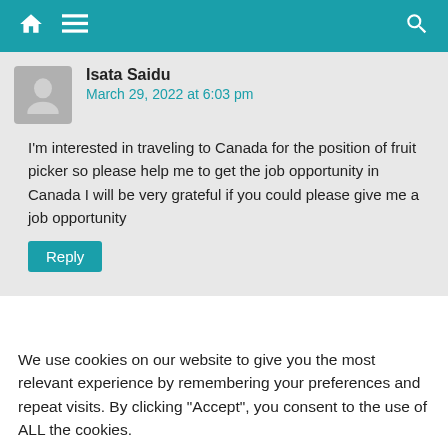Navigation bar with home, menu, and search icons
Isata Saidu
March 29, 2022 at 6:03 pm
I'm interested in traveling to Canada for the position of fruit picker so please help me to get the job opportunity in Canada I will be very grateful if you could please give me a job opportunity
Reply
We use cookies on our website to give you the most relevant experience by remembering your preferences and repeat visits. By clicking "Accept", you consent to the use of ALL the cookies.
Reject.
Cookie Settings
Accept